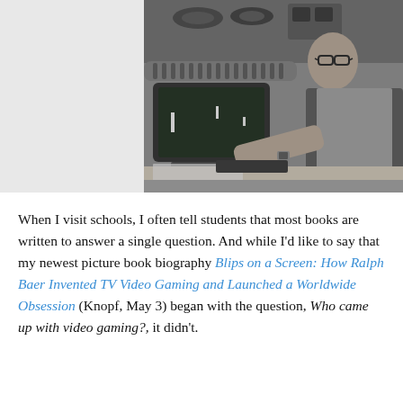[Figure (photo): Black and white photograph of a man (Ralph Baer) wearing glasses and a vest, leaning over an early TV video game screen showing simple blip graphics, with electronic equipment and spools visible in the background. Left portion is a light gray placeholder area.]
When I visit schools, I often tell students that most books are written to answer a single question. And while I'd like to say that my newest picture book biography Blips on a Screen: How Ralph Baer Invented TV Video Gaming and Launched a Worldwide Obsession (Knopf, May 3) began with the question, Who came up with video gaming?, it didn't.